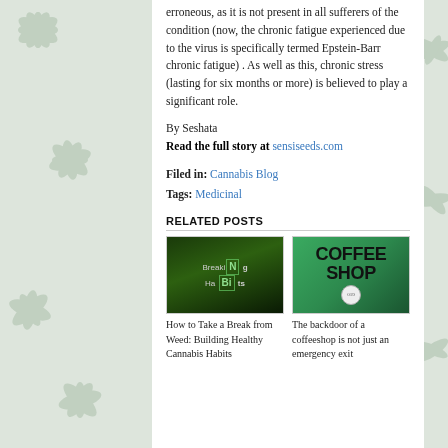erroneous, as it is not present in all sufferers of the condition (now, the chronic fatigue experienced due to the virus is specifically termed Epstein-Barr chronic fatigue) . As well as this, chronic stress (lasting for six months or more) is believed to play a significant role.
By Seshata
Read the full story at sensiseeds.com
Filed in: Cannabis Blog
Tags: Medicinal
RELATED POSTS
[Figure (photo): Breaking Bad style title card with 'BReaKiNg HaBiTs' text on dark green cannabis background]
[Figure (photo): Coffee Shop sign photo with large black text on green background and numbered badge]
How to Take a Break from Weed: Building Healthy Cannabis Habits
The backdoor of a coffeeshop is not just an emergency exit